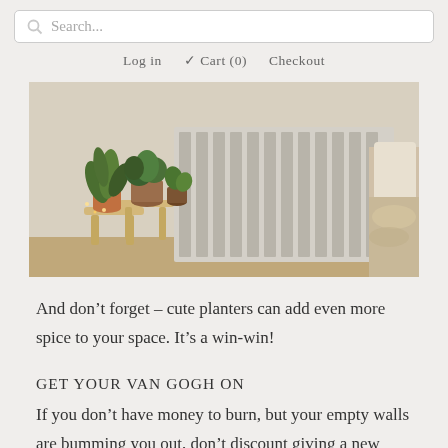Search...  Log in  Cart (0)  Checkout
[Figure (photo): Interior home photo showing potted plants on wooden stools next to a white cast-iron radiator, with a cozy couch with a pillow and blanket on the right side]
And don't forget – cute planters can add even more spice to your space. It's a win-win!
GET YOUR VAN GOGH ON
If you don't have money to burn, but your empty walls are bumming you out, don't discount giving a new artist a chance – how about yourself? It's easier than you think to